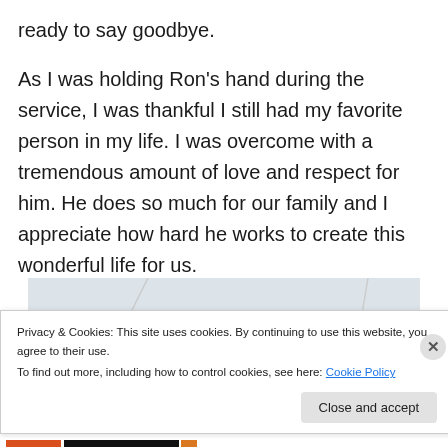ready to say goodbye.
As I was holding Ron’s hand during the service, I was thankful I still had my favorite person in my life.  I was overcome with a tremendous amount of love and respect for him.  He does so much for our family and I appreciate how hard he works to create this wonderful life for us.
[Figure (photo): A dark navy blue sign or board with white decorative lettering/text, partially visible. A rounded dark shape (possibly a head/shoulder) in the lower left corner.]
Privacy & Cookies: This site uses cookies. By continuing to use this website, you agree to their use.
To find out more, including how to control cookies, see here: Cookie Policy
Close and accept